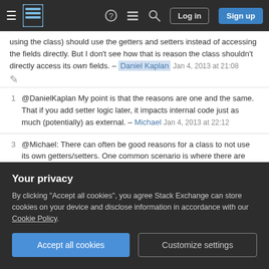Stack Exchange navigation bar with hamburger menu, logo, help icon, chat icon, search icon, Log in button, Sign up button
using the class) should use the getters and setters instead of accessing the fields directly. But I don't see how that is reason the class shouldn't directly access its own fields. – Daniel Kaplan  Jan 4, 2013 at 21:08
1  @DanielKaplan My point is that the reasons are one and the same. That if you add setter logic later, it impacts internal code just as much (potentially) as external. – Michael  Jan 4, 2013 at 22:12
3  @Michael: There can often be good reasons for a class to not use its own getters/setters. One common scenario is where there are many setters of the form
Your privacy
By clicking "Accept all cookies", you agree Stack Exchange can store cookies on your device and disclose information in accordance with our Cookie Policy.
Accept all cookies   Customize settings